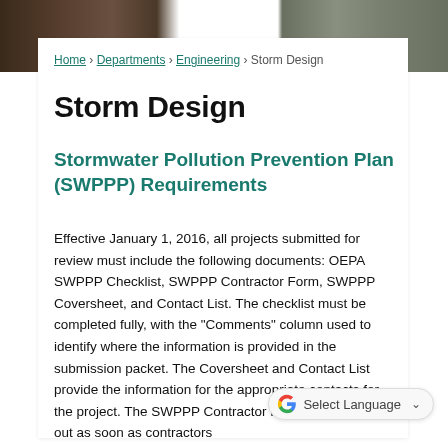[Figure (photo): Background photo banner of a city street scene]
Home › Departments › Engineering › Storm Design
Storm Design
Stormwater Pollution Prevention Plan (SWPPP) Requirements
Effective January 1, 2016, all projects submitted for review must include the following documents: OEPA SWPPP Checklist, SWPPP Contractor Form, SWPPP Coversheet, and Contact List. The checklist must be completed fully, with the "Comments" column used to identify where the information is provided in the submission packet. The Coversheet and Contact List provide the information for the appropriate contacts for the project. The SWPPP Contractor Form must be filled out as soon as contractors for been identified. To ensure compliance with this new